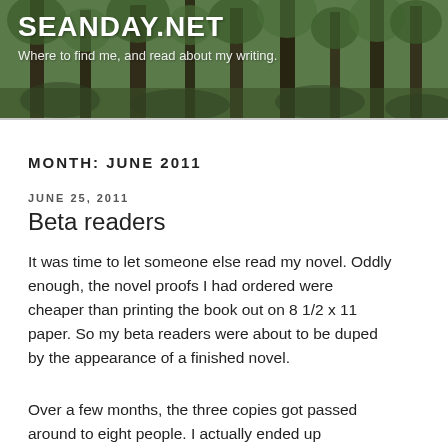SEANDAY.NET
Where to find me, and read about my writing.
MONTH: JUNE 2011
JUNE 25, 2011
Beta readers
It was time to let someone else read my novel. Oddly enough, the novel proofs I had ordered were cheaper than printing the book out on 8 1/2 x 11 paper. So my beta readers were about to be duped by the appearance of a finished novel.
Over a few months, the three copies got passed around to eight people. I actually ended up formatting the book